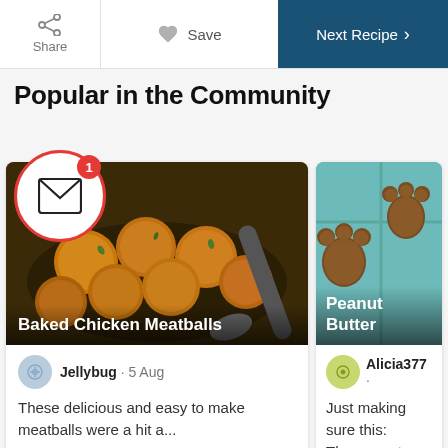Share | Save | Next Recipe
Popular in the Community
[Figure (screenshot): Web UI screenshot showing community recipe cards. Left card: Baked Chicken Meatballs posted by Jellybug on 5 Aug with comment 'These delicious and easy to make meatballs were a hit a...' and Top Comment with 24 likes. Right card: Peanut Butter recipe posted by Alicia377 with comment 'Just making sure this: These are tr...' and Top Comment label. A mail notification icon with badge '1' overlays the top-left of the cards area.]
Jellybug · 5 Aug
These delicious and easy to make meatballs were a hit a...
Top Comment
24
Alicia377 ·
Just making sure this: These are tr